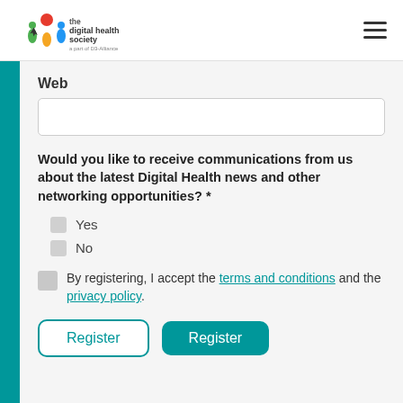[Figure (logo): Digital Health Society logo with colorful figures and text]
Web
Would you like to receive communications from us about the latest Digital Health news and other networking opportunities? *
Yes
No
By registering, I accept the terms and conditions and the privacy policy.
Register
Register